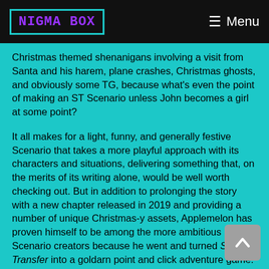NIGMA BOX   ☰ Menu
Christmas themed shenanigans involving a visit from Santa and his harem, plane crashes, Christmas ghosts, and obviously some TG, because what's even the point of making an ST Scenario unless John becomes a girl at some point?
It all makes for a light, funny, and generally festive Scenario that takes a more playful approach with its characters and situations, delivering something that, on the merits of its writing alone, would be well worth checking out. But in addition to prolonging the story with a new chapter released in 2019 and providing a number of unique Christmas-y assets, Applemelon has proven himself to be among the more ambitious Scenario creators because he went and turned Student Transfer into a goldarn point and click adventure game. Admittedly a rather basic one, but it is nevertheless a great display of his